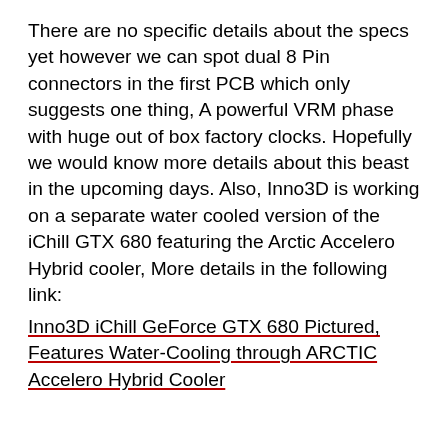There are no specific details about the specs yet however we can spot dual 8 Pin connectors in the first PCB which only suggests one thing, A powerful VRM phase with huge out of box factory clocks. Hopefully we would know more details about this beast in the upcoming days. Also, Inno3D is working on a separate water cooled version of the iChill GTX 680 featuring the Arctic Accelero Hybrid cooler, More details in the following link:
Inno3D iChill GeForce GTX 680 Pictured, Features Water-Cooling through ARCTIC Accelero Hybrid Cooler
[Figure (other): Share button icon (circular dark button with share/export icon) and advertisement placeholder box below an ADVERTISEMENT label]